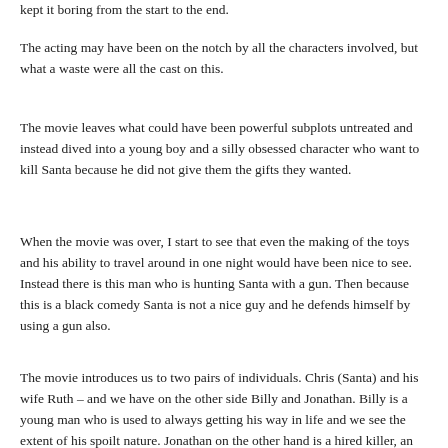kept it boring from the start to the end.
The acting may have been on the notch by all the characters involved, but what a waste were all the cast on this.
The movie leaves what could have been powerful subplots untreated and instead dived into a young boy and a silly obsessed character who want to kill Santa because he did not give them the gifts they wanted.
When the movie was over, I start to see that even the making of the toys and his ability to travel around in one night would have been nice to see. Instead there is this man who is hunting Santa with a gun. Then because this is a black comedy Santa is not a nice guy and he defends himself by using a gun also.
The movie introduces us to two pairs of individuals. Chris (Santa) and his wife Ruth – and we have on the other side Billy and Jonathan. Billy is a young man who is used to always getting his way in life and we see the extent of his spoilt nature. Jonathan on the other hand is a hired killer, an adult who is obsessed with hunting Santa. Jonathan got a lump of coal as